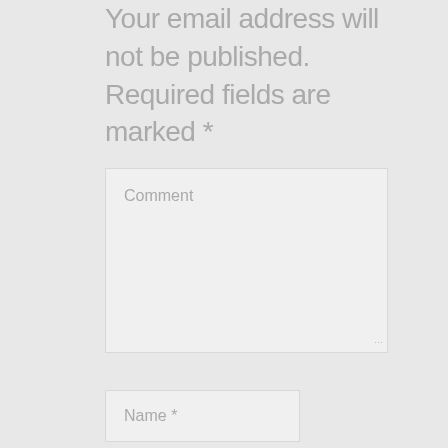Your email address will not be published. Required fields are marked *
[Figure (screenshot): Comment text area input field with placeholder text 'Comment' and resize handle]
[Figure (screenshot): Name input field with placeholder text 'Name *']